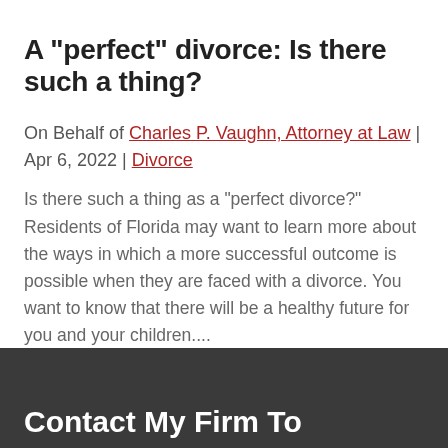A "perfect" divorce: Is there such a thing?
On Behalf of Charles P. Vaughn, Attorney at Law | Apr 6, 2022 | Divorce
Is there such a thing as a "perfect divorce?" Residents of Florida may want to learn more about the ways in which a more successful outcome is possible when they are faced with a divorce. You want to know that there will be a healthy future for you and your children....
Read More
Contact My Firm To